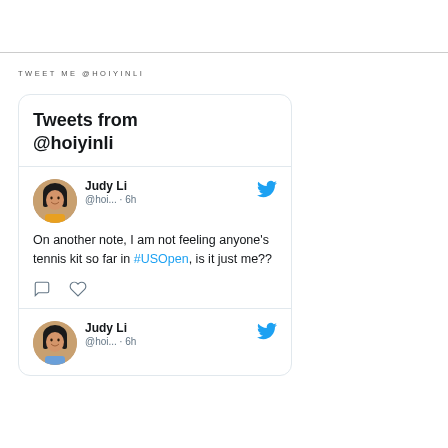TWEET ME @HOIYINLI
[Figure (screenshot): Twitter widget showing tweets from @hoiyinli. First tweet by Judy Li (@hoi... · 6h): 'On another note, I am not feeling anyone's tennis kit so far in #USOpen, is it just me??' with reply and like icons. Second tweet card by Judy Li (@hoi... · 6h) visible at bottom.]